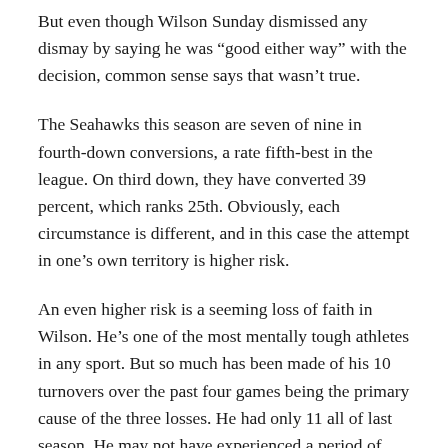But even though Wilson Sunday dismissed any dismay by saying he was “good either way” with the decision, common sense says that wasn’t true.
The Seahawks this season are seven of nine in fourth-down conversions, a rate fifth-best in the league. On third down, they have converted 39 percent, which ranks 25th. Obviously, each circumstance is different, and in this case the attempt in one’s own territory is higher risk.
An even higher risk is a seeming loss of faith in Wilson. He’s one of the most mentally tough athletes in any sport. But so much has been made of his 10 turnovers over the past four games being the primary cause of the three losses. He had only 11 all of last season. He may not have experienced a period of such vulnerability in his otherwise hugely successful pro career.